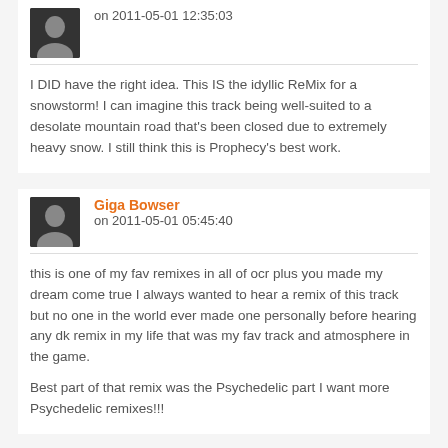on 2011-05-01 12:35:03
I DID have the right idea. This IS the idyllic ReMix for a snowstorm! I can imagine this track being well-suited to a desolate mountain road that's been closed due to extremely heavy snow. I still think this is Prophecy's best work.
Giga Bowser
on 2011-05-01 05:45:40
this is one of my fav remixes in all of ocr plus you made my dream come true I always wanted to hear a remix of this track but no one in the world ever made one personally before hearing any dk remix in my life that was my fav track and atmosphere in the game.
Best part of that remix was the Psychedelic part I want more Psychedelic remixes!!!
DarkSim
on 2010-11-06 15:29:52